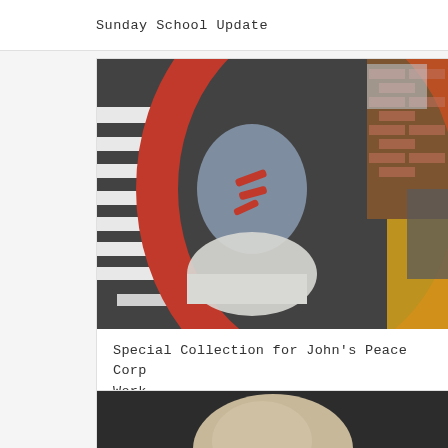Sunday School Update
[Figure (photo): Close-up photograph of a flag featuring an Aboriginal-style design with a dark background, white horizontal stripes on the left, a large red arc/circle, a grey silhouette figure with red marks, white cloud-like shape at bottom, and yellow fabric visible on the right. A person in a suit is partially visible on the right edge, with a brick building in the background.]
Special Collection for John's Peace Corp Work
[Figure (photo): Partial view of a person with grey/blonde hair, cropped at the bottom of the page.]